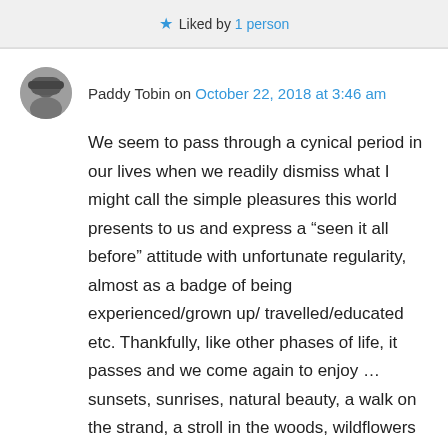★ Liked by 1 person
Paddy Tobin on October 22, 2018 at 3:46 am
We seem to pass through a cynical period in our lives when we readily dismiss what I might call the simple pleasures this world presents to us and express a “seen it all before” attitude with unfortunate regularity, almost as a badge of being experienced/grown up/ travelled/educated etc. Thankfully, like other phases of life, it passes and we come again to enjoy … sunsets, sunrises, natural beauty, a walk on the strand, a stroll in the woods, wildflowers – my special favourite in latter years. Should we tire of these beautiful things – sunsets and the likes – we